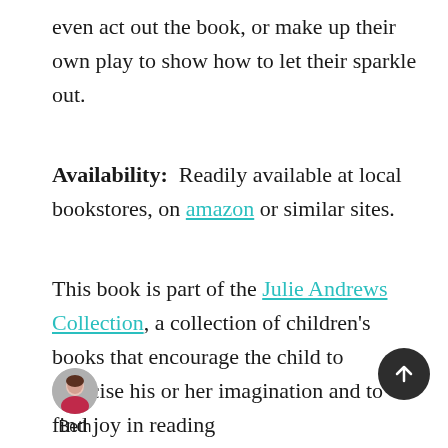even act out the book, or make up their own play to show how to let their sparkle out.
Availability: Readily available at local bookstores, on amazon or similar sites.
This book is part of the Julie Andrews Collection, a collection of children's books that encourage the child to exercise his or her imagination and to find joy in reading
[Figure (photo): Small circular avatar photo of a person named Beth]
Beth